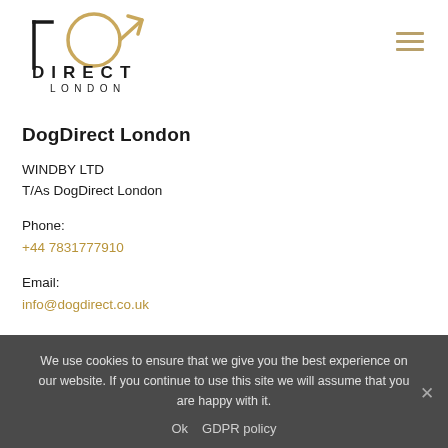[Figure (logo): Dog Direct London logo with geometric dog head outline in gold/black and text DIRECT LONDON below]
DogDirect London
WINDBY LTD
T/As DogDirect London
Phone:
+44 7831777910
Email:
info@dogdirect.co.uk
We use cookies to ensure that we give you the best experience on our website. If you continue to use this site we will assume that you are happy with it.
Ok  GDPR policy